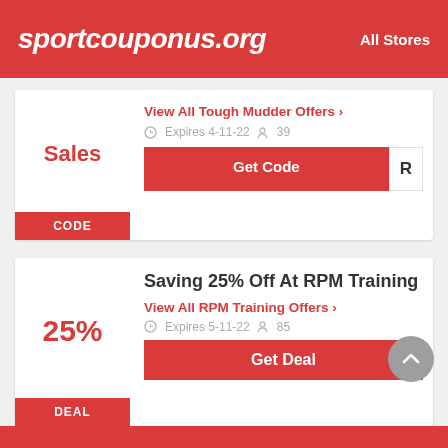sportcouponus.org | All Stores
Sales
CODE
View All Tough Mudder Offers >
Expires 4-11-22  39
Get Code R
Saving 25% Off At RPM Training
25%
DEAL
View All RPM Training Offers >
Expires 5-11-22  85
Get Deal